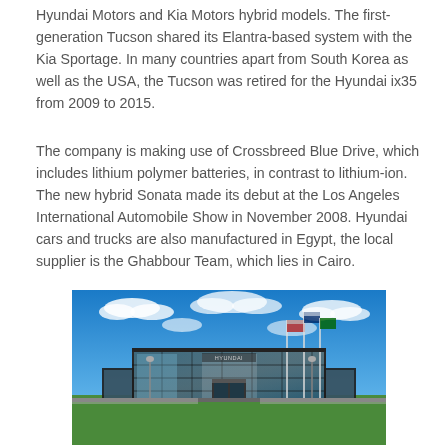Hyundai Motors and Kia Motors hybrid models. The first-generation Tucson shared its Elantra-based system with the Kia Sportage. In many countries apart from South Korea as well as the USA, the Tucson was retired for the Hyundai ix35 from 2009 to 2015.
The company is making use of Crossbreed Blue Drive, which includes lithium polymer batteries, in contrast to lithium-ion. The new hybrid Sonata made its debut at the Los Angeles International Automobile Show in November 2008. Hyundai cars and trucks are also manufactured in Egypt, the local supplier is the Ghabbour Team, which lies in Cairo.
[Figure (photo): Exterior photograph of a Hyundai building/headquarters with a glass facade, flagpoles, blue sky with clouds, and a red-brick pathway leading to the entrance.]